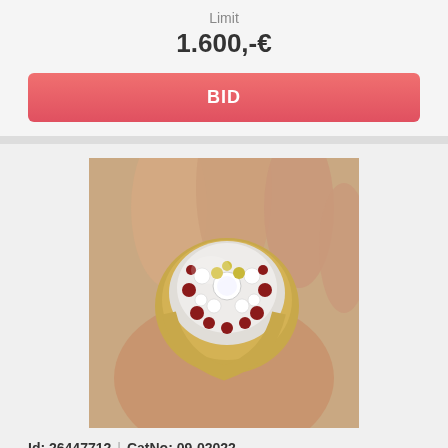Limit
1.600,-€
BID
[Figure (photo): A gold ring set with brilliants and rubies, shown worn on a hand. The ring has a large domed top encrusted with diamonds/brilliants and dark red rubies arranged in a cluster pattern. The setting appears to be yellow gold (YG 585/000).]
Id: 26447712 | CatNo: 09-02022
14 kt gold ring with brilliants and rubies ,YG 585/000, 20 rubies total approx. 3,6 ct, 30 ...